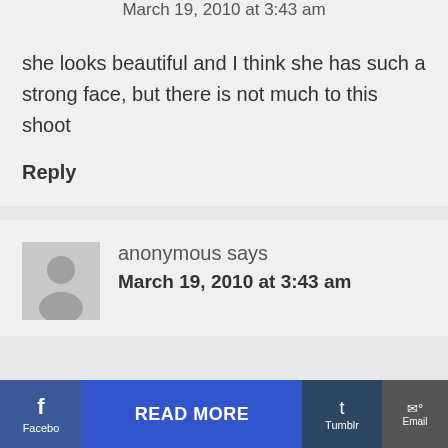March 19, 2010 at 3:43 am
she looks beautiful and I think she has such a strong face, but there is not much to this shoot
Reply
[Figure (illustration): Anonymous user avatar placeholder icon, grey silhouette of a person on light grey background]
anonymous says
March 19, 2010 at 3:43 am
Facebook  READ MORE  Tumblr  Email